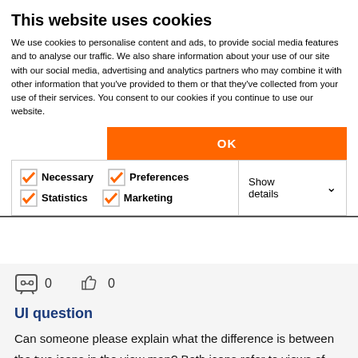This website uses cookies
We use cookies to personalise content and ads, to provide social media features and to analyse our traffic. We also share information about your use of our site with our social media, advertising and analytics partners who may combine it with other information that you've provided to them or that they've collected from your use of their services. You consent to our cookies if you continue to use our website.
OK
Necessary  Preferences  Statistics  Marketing  Show details
0  0
UI question
Can someone please explain what the difference is between the two icons in the view map? Both icons refer to views of viewports created by detail markers. I'm not understanding the visual feedback offered by the user interface. Thanks!